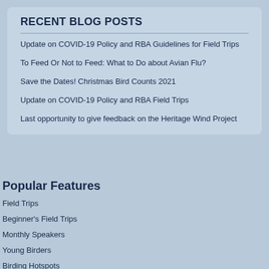RECENT BLOG POSTS
Update on COVID-19 Policy and RBA Guidelines for Field Trips
To Feed Or Not to Feed: What to Do about Avian Flu?
Save the Dates! Christmas Bird Counts 2021
Update on COVID-19 Policy and RBA Field Trips
Last opportunity to give feedback on the Heritage Wind Project
Popular Features
Field Trips
Beginner's Field Trips
Monthly Speakers
Young Birders
Birding Hotspots
Where to bird this month